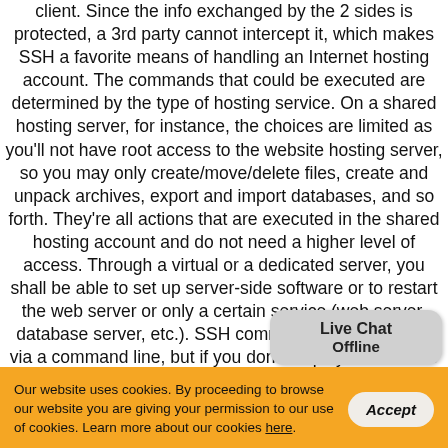client. Since the info exchanged by the 2 sides is protected, a 3rd party cannot intercept it, which makes SSH a favorite means of handling an Internet hosting account. The commands that could be executed are determined by the type of hosting service. On a shared hosting server, for instance, the choices are limited as you'll not have root access to the website hosting server, so you may only create/move/delete files, create and unpack archives, export and import databases, and so forth. They're all actions that are executed in the shared hosting account and do not need a higher level of access. Through a virtual or a dedicated server, you shall be able to set up server-side software or to restart the web server or only a certain service (web server, database server, etc.). SSH commands are submitted via a command line, but if you don't employ a UNIX-like Operating System, there are a variety of apps for other OSs, that you can employ to connect to the remote web
[Figure (other): Live Chat Offline popup bubble overlay in grey]
Our website uses cookies. By proceeding to browse our website you are giving your permission to our use of cookies. Learn more about our cookies here.